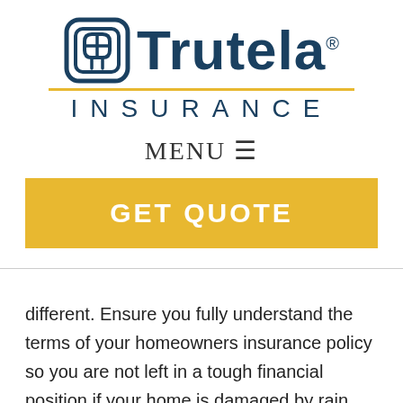[Figure (logo): Trutela Insurance logo with icon, gold divider line, and 'INSURANCE' text in navy blue]
MENU ≡
GET QUOTE
different. Ensure you fully understand the terms of your homeowners insurance policy so you are not left in a tough financial position if your home is damaged by rain, snow, ice, or other severe